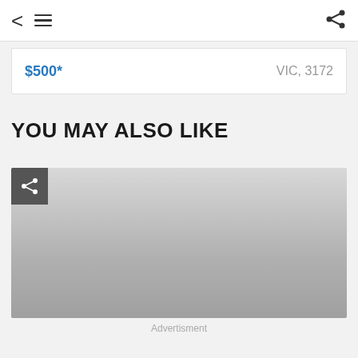< ≡ share
$500* VIC, 3172
YOU MAY ALSO LIKE
[Figure (screenshot): Recommendation card placeholder with share button in top-left corner, showing a gradient gray image placeholder]
Advertisment